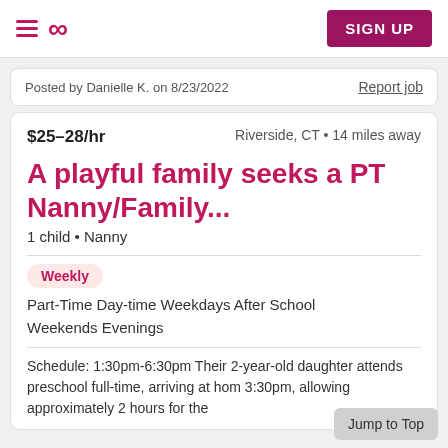SIGN UP
Posted by Danielle K. on 8/23/2022   Report job
$25–28/hr   Riverside, CT • 14 miles away
A playful family seeks a PT Nanny/Family...
1 child • Nanny
Weekly
Part-Time Day-time Weekdays After School Weekends Evenings
Schedule: 1:30pm-6:30pm Their 2-year-old daughter attends preschool full-time, arriving at hom 3:30pm, allowing approximately 2 hours for the